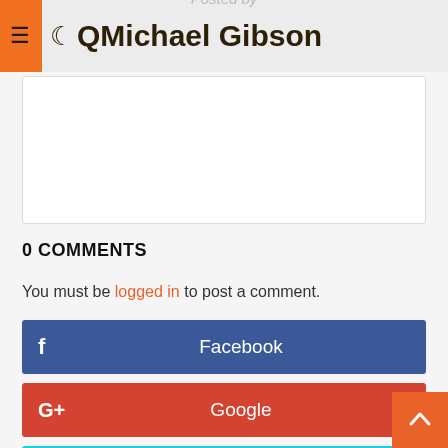QMichael Gibson
[Figure (other): White empty comment text area box]
0 COMMENTS
You must be logged in to post a comment.
[Figure (other): Facebook social login button (blue)]
[Figure (other): Google+ social login button (red)]
[Figure (other): Twitter social login button (cyan)]
[Figure (other): Instagram social login button (purple)]